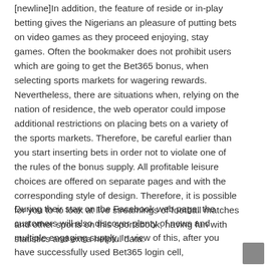[newline]In addition, the feature of reside or in-play betting gives the Nigerians an pleasure of putting bets on video games as they proceed enjoying, stay games. Often the bookmaker does not prohibit users which are going to get the Bet365 bonus, when selecting sports markets for wagering rewards. Nevertheless, there are situations when, relying on the nation of residence, the web operator could impose additional restrictions on placing bets on a variety of the sports markets. Therefore, be careful earlier than you start inserting bets in order not to violate one of the rules of the bonus supply. All profitable leisure choices are offered on separate pages and with the corresponding style of design. Therefore, it is possible for you to to look at live streamings of football matches and other sports on this sportsbook, having fun with statistics and extra helpful data.
During their stay on the Facebook web page, the customers will also discover plenty of news and multiple engaging supply. In view of this, after you have successfully used Bet365 login cell,